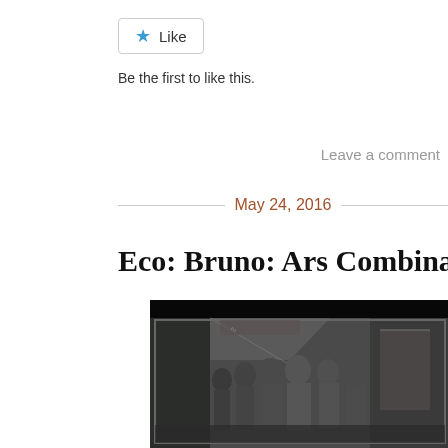[Figure (other): Like button with blue star icon]
Be the first to like this.
Leave a comment
May 24, 2016
Eco: Bruno: Ars Combinatoria an
[Figure (photo): Black and white photograph of a bronze relief sculpture depicting a group of historical figures in a formal scene]